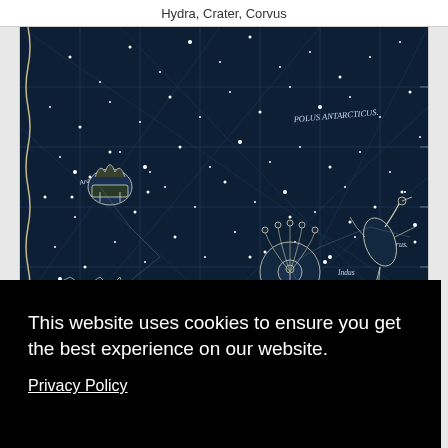Hydra, Crater, Corvus
[Figure (illustration): Antique celestial star map on dark navy background showing southern constellations including Polus Antarcticus, Ara, Triangulum Australe, Apas, Musca, Pavo, Indus, Grus, Tucana, Phoenix, Chamaeleon with white engraved illustrations of mythological figures and animals]
This website uses cookies to ensure you get the best experience on our website.
Privacy Policy
Got it!